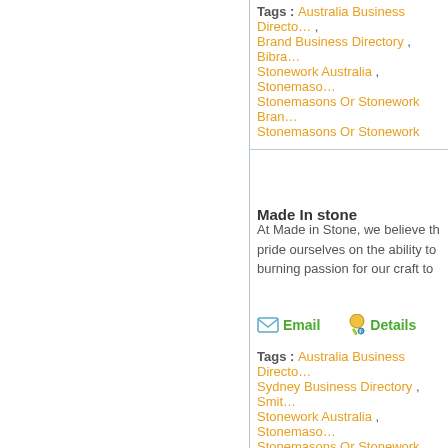Tags : Australia Business Directory , Brand Business Directory , Bibra Stonework Australia , Stonemasons , Stonemasons Or Stonework Brand , Stonemasons Or Stonework
Made In stone
At Made in Stone, we believe th... pride ourselves on the ability to... burning passion for our craft to...
Email   Details
Tags : Australia Business Directory , Sydney Business Directory , Smith Stonework Australia , Stonemasons , Stonemasons Or Stonework Sydn... Stonemasons Or Stonework
Home | Resources | Privacy Policy | Te...
©